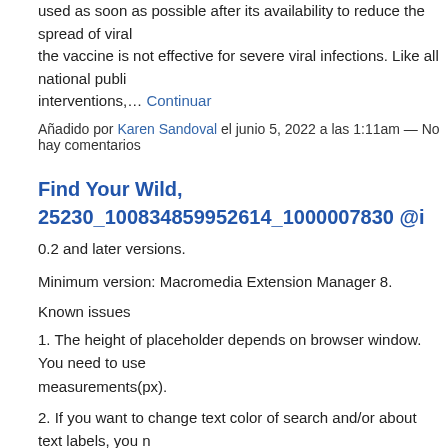used as soon as possible after its availability to reduce the spread of viral ... the vaccine is not effective for severe viral infections. Like all national publi... interventions,… Continuar
Añadido por Karen Sandoval el junio 5, 2022 a las 1:11am — No hay comentarios
Find Your Wild, 25230_100834859952614_1000007830 @i...
0.2 and later versions.
Minimum version: Macromedia Extension Manager 8.
Known issues
1. The height of placeholder depends on browser window. You need to use measurements(px).
2. If you want to change text color of search and/or about text labels, you n... the style settings and append them to the end of theme.css file. For examp...
#searchbox, #tabs_about {background-color: # ec5d62056f…
Continuar
Añadido por Karen Sandoval el junio 5, 2022 a las 12:58am — No hay comentarie...